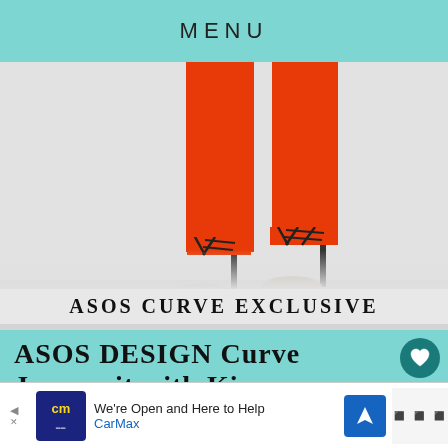MENU
[Figure (photo): Fashion product photo showing the lower half of a model wearing an orange/red jumpsuit and black lace-up heeled sandals, with text overlay 'ASOS CURVE EXCLUSIVE' at the bottom of the image]
ASOS DESIGN Curve Jumpsuit with Kimono
[Figure (screenshot): Advertisement bar at bottom: CarMax ad reading 'We're Open and Here to Help CarMax' with CarMax logo, navigation icon, and weather/news widget logo]